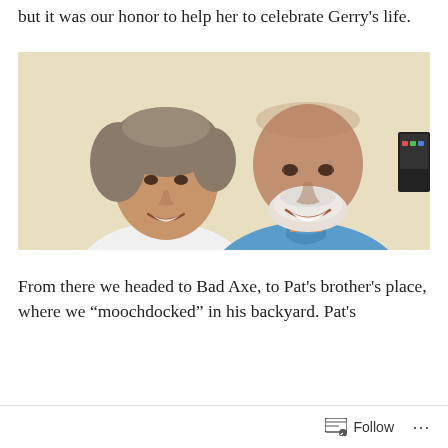but it was our honor to help her to celebrate Gerry's life.
[Figure (photo): A smiling middle-aged woman with short grey-brown hair wearing a white shirt and a necklace, posing with a smiling older bald man with a white beard wearing a blue polo shirt. Warm beige background.]
From there we headed to Bad Axe, to Pat's brother's place, where we "moochdocked" in his backyard. Pat's
Follow ...